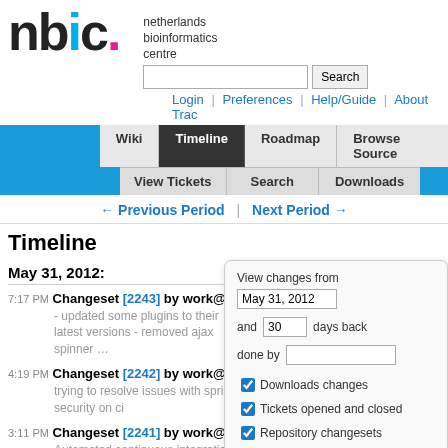[Figure (logo): NBIC logo - Netherlands Bioinformatics Centre stylized text logo with colored letters]
netherlands bioinformatics centre
Login | Preferences | Help/Guide | About Trac
Wiki | Timeline | Roadmap | Browse Source | View Tickets | Search | Downloads
← Previous Period | Next Period →
Timeline
May 31, 2012:
7:17 PM Changeset [2243] by work@...
- updated some plugins to their latest versions - removed ajax spinner ...
4:19 PM Changeset [2242] by work@...
trying to resolve issues with spring security on ci
3:11 PM Changeset [2241] by work@...
Automated continuous integration commit of minified JS/CSS
[Figure (screenshot): Filter panel: View changes from May 31, 2012, and 30 days back, done by field, checkboxes for Downloads changes, Tickets opened and closed, Repository changesets, Milestones reached, Wiki changes, and Update button]